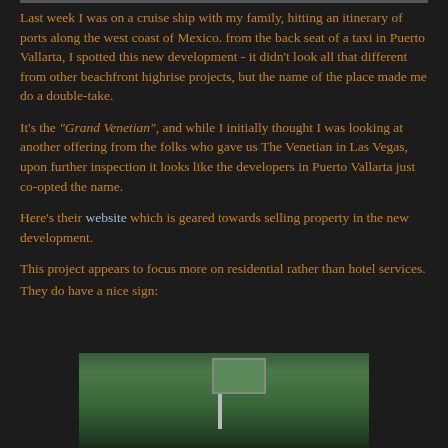Last week I was on a cruise ship with my family, hitting an itinerary of ports along the west coast of Mexico. from the back seat of a taxi in Puerto Vallarta, I spotted this new development - it didn't look all that different from other beachfront highrise projects, but the name of the place made me do a double-take.
It's the "Grand Venetian", and while I initially thought I was looking at another offering from the folks who gave us The Venetian in Las Vegas, upon further inspection it looks like the developers in Puerto Vallarta just co-opted the name.
Here's their website which is geared towards selling property in the new development.
This project appears to focus more on residential rather than hotel services.
They do have a nice sign:
[Figure (photo): A photograph showing a sign/signboard for the Grand Venetian development in Puerto Vallarta, with greenery/trees in the background. The image is partially cut off at the bottom of the page.]